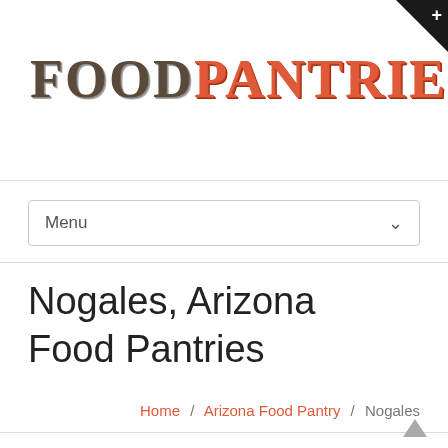[Figure (logo): FoodPantries.org logo with FOOD in dark brown textured letters, PANTRIES in orange-red textured letters, .ORG in gray textured letters]
Nogales, Arizona Food Pantries
Home / Arizona Food Pantry / Nogales
▲